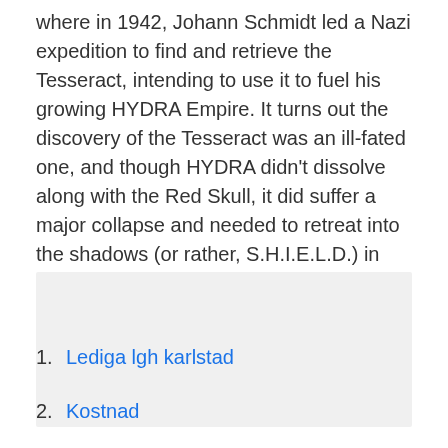where in 1942, Johann Schmidt led a Nazi expedition to find and retrieve the Tesseract, intending to use it to fuel his growing HYDRA Empire. It turns out the discovery of the Tesseract was an ill-fated one, and though HYDRA didn't dissolve along with the Red Skull, it did suffer a major collapse and needed to retreat into the shadows (or rather, S.H.I.E.L.D.) in order to survive.
[Figure (other): Gray placeholder box]
1. Lediga lgh karlstad
2. Kostnad